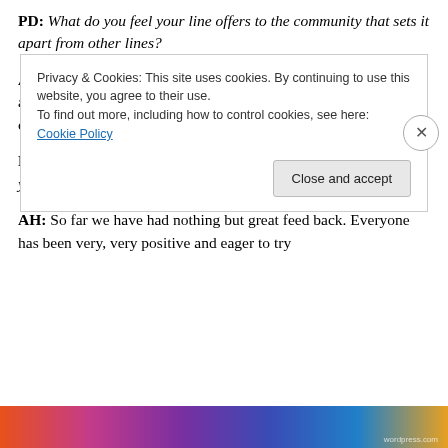PD: What do you feel your line offers to the community that sets it apart from other lines?
AH: Aura Heels are unlike anything else out there. There isn't another shoe line that offers rechargeable features and the opportunity to truly customize.
PD: How has the community reacted to your new line? Where do you hope to take it?
AH: So far we have had nothing but great feed back. Everyone has been very, very positive and eager to try
Privacy & Cookies: This site uses cookies. By continuing to use this website, you agree to their use. To find out more, including how to control cookies, see here: Cookie Policy
Close and accept